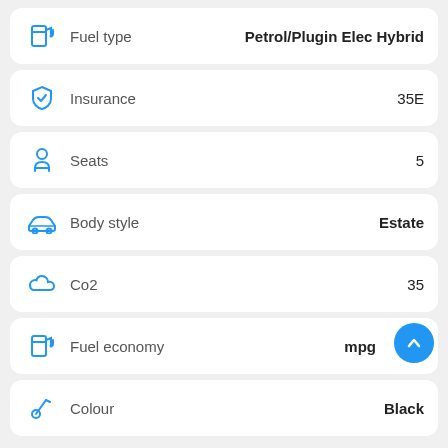Fuel type: Petrol/Plugin Elec Hybrid
Insurance: 35E
Seats: 5
Body style: Estate
Co2: 35
Fuel economy: mpg
Colour: Black